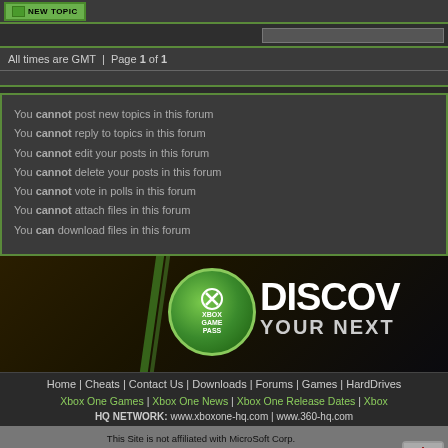[Figure (screenshot): New Topic button with green styling]
All times are GMT | Page 1 of 1
You cannot post new topics in this forum
You cannot reply to topics in this forum
You cannot edit your posts in this forum
You cannot delete your posts in this forum
You cannot vote in polls in this forum
You cannot attach files in this forum
You can download files in this forum
[Figure (illustration): Xbox Game Pass advertisement banner - DISCOVER YOUR NEXT]
Home | Cheats | Contact Us | Downloads | Forums | Games | HardDrives
Xbox One Games | Xbox One News | Xbox One Release Dates | Xbox
HQ NETWORK: www.xboxone-hq.com | www.360-hq.com
This Site is not affiliated with MicroSoft Corp.
'Microsoft' 'Xbox' and the Xbox-logo(s) are trademarks of MicroSoft Corp.
This Site is designed for Educational Purposes
Copyright ©2002-2022 http://www.xbox-hq.com